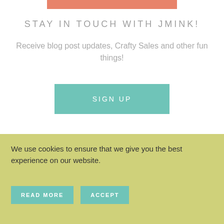[Figure (other): Salmon/coral colored decorative horizontal bar at top]
STAY IN TOUCH WITH JMINK!
Receive blog post updates, Crafty Sales and other fun things!
[Figure (other): Teal/turquoise SIGN UP button]
LOGIN
Want to save your favorite posts & videos? Feel
We use cookies to ensure that we give you the best experience on our website.
[Figure (other): READ MORE and ACCEPT buttons on yellow-green cookie banner]